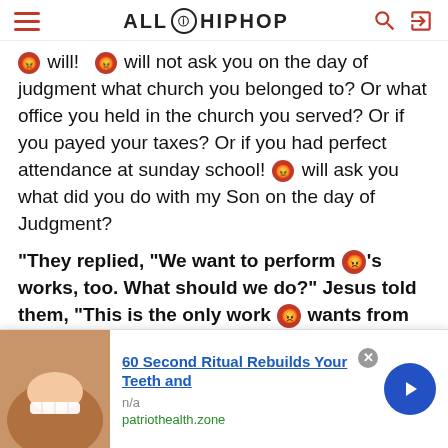ALL HIPHOP
will! will not ask you on the day of judgment what church you belonged to? Or what office you held in the church you served? Or if you payed your taxes? Or if you had perfect attendance at sunday school! will ask you what did you do with my Son on the day of Judgment?
"They replied, “We want to perform 😡’s works, too. What should we do?” Jesus told them, “This is the only work 😡 wants from you: Believe in the one he has sent.” John 6:28-29
6. People condemn their own self to the lake of fire. We
[Figure (screenshot): Advertisement banner: '60 Second Ritual Rebuilds Your Teeth and' from patriothealth.zone with a photo of a person smiling showing white teeth, and a blue arrow button.]